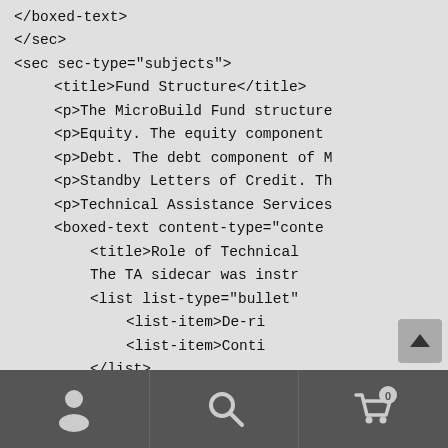</boxed-text>
</sec>
<sec sec-type="subjects">
<title>Fund Structure</title>
<p>The MicroBuild Fund structure
<p>Equity. The equity component
<p>Debt. The debt component of M
<p>Standby Letters of Credit. Th
<p>Technical Assistance Services
<boxed-text content-type="conte
<title>Role of Technical
The TA sidecar was instr
<list list-type="bullet"
<list-item>De-ri
<list-item>Conti
</list>
In fact, TA was such a k